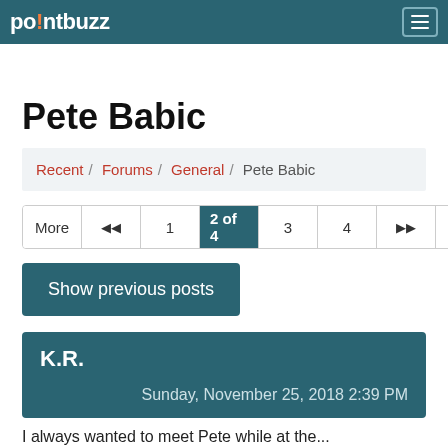pointbuzz
Pete Babic
Recent / Forums / General / Pete Babic
More | |< | 1 | 2 of 4 | 3 | 4 | >> | >|
Show previous posts
K.R.
Sunday, November 25, 2018 2:39 PM
I always wanted to meet Pete while at the...